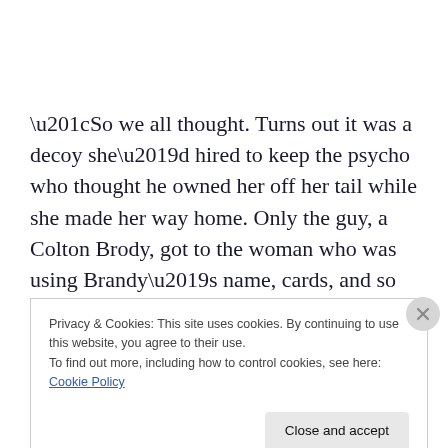“So we all thought. Turns out it was a decoy she’d hired to keep the psycho who thought he owned her off her tail while she made her way home. Only the guy, a Colton Brody, got to the woman who was using Brandy’s name, cards, and so forth.”
“Son of a bitch,” he breathed out. “Was she dating the guy
Privacy & Cookies: This site uses cookies. By continuing to use this website, you agree to their use.
To find out more, including how to control cookies, see here: Cookie Policy
Close and accept